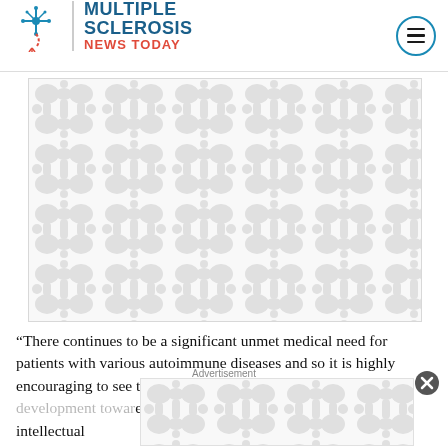Multiple Sclerosis News Today
[Figure (photo): Placeholder image with repeating grey organic/cell-like pattern on white background]
“There continues to be a significant unmet medical need for patients with various autoimmune diseases and so it is highly encouraging to see the rece[nt steps] tow[ards] clini[cal] [progress towar]d[s] [full] development … and now with securing intellectual